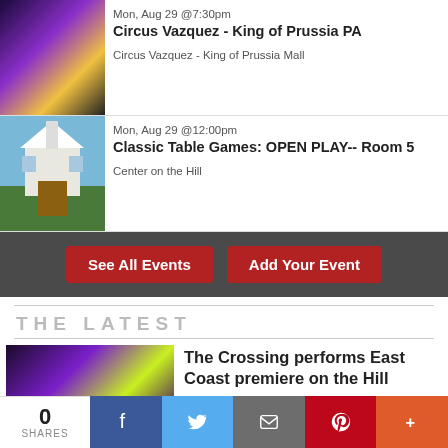Mon, Aug 29 @7:30pm
Circus Vazquez - King of Prussia PA
Circus Vazquez - King of Prussia Mall
Mon, Aug 29 @12:00pm
Classic Table Games: OPEN PLAY-- Room 5
Center on the Hill
See All Events | Add Your Event
THE LATEST
The Crossing performs East Coast premiere on the Hill
Close on the heels of their groundbreaking “Month of Moderns,” Donald Nally and The Crossing return to the Presbyterian Church of Chestnut
0 SHARES